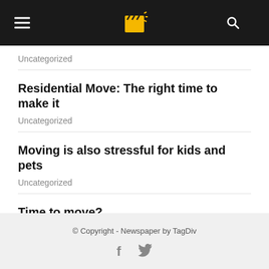navigation header with logo, hamburger menu, and search icon
Uncategorized
Residential Move: The right time to make it
Uncategorized
Moving is also stressful for kids and pets
Uncategorized
Time to move?
Uncategorized
© Copyright - Newspaper by TagDiv